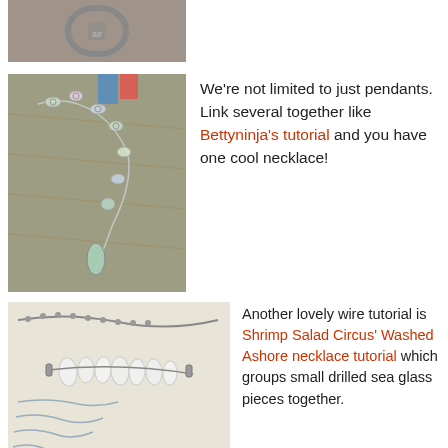[Figure (photo): Partial top image of a jewelry item, cropped at the top of the page]
[Figure (photo): Photo of a glass bead and wire necklace laid on a wooden surface]
We're not limited to just pendants. Link several together like Bettyninja's tutorial and you have one cool necklace!
[Figure (photo): Photo of a white sea glass necklace grouped on handwritten paper background]
Another lovely wire tutorial is Shrimp Salad Circus' Washed Ashore necklace tutorial which groups small drilled sea glass pieces together.
[Figure (photo): Partial bottom image, cropped at the bottom of the page]